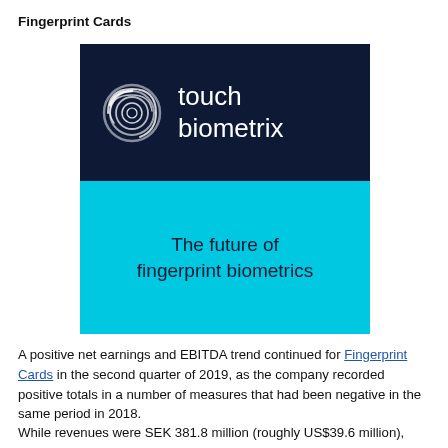Fingerprint Cards
[Figure (logo): Touch Biometrix logo with dark navy top section showing a circular fingerprint icon and the text 'touch biometrix', and a cyan/light blue bottom section with the text 'The future of fingerprint biometrics']
A positive net earnings and EBITDA trend continued for Fingerprint Cards in the second quarter of 2019, as the company recorded positive totals in a number of measures that had been negative in the same period in 2018.
While revenues were SEK 381.8 million (roughly US$39.6 million),